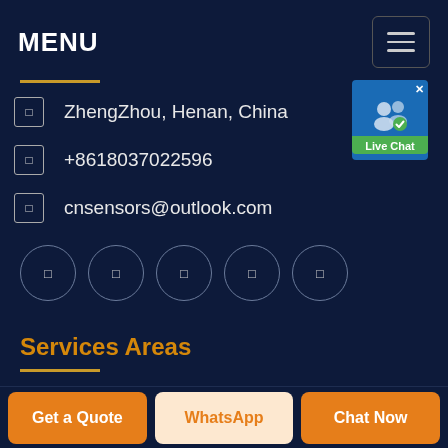MENU
ZhengZhou, Henan, China
+8618037022596
cnsensors@outlook.com
[Figure (other): Five social media icon circles]
Services Areas
Industrial process CO2 monitor and control
[Figure (screenshot): Live Chat widget badge with user icon and green label]
Get a Quote | WhatsApp | Chat Now